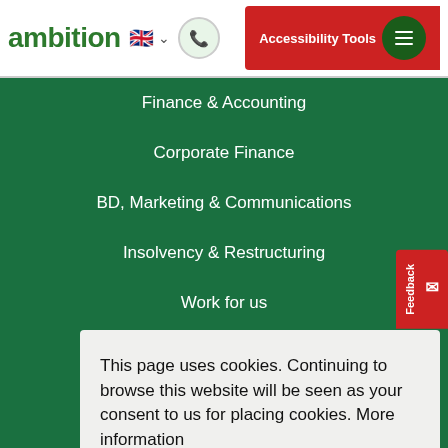ambition - Accessibility Tools navigation header
Finance & Accounting
Corporate Finance
BD, Marketing & Communications
Insolvency & Restructuring
Work for us
This page uses cookies. Continuing to browse this website will be seen as your consent to us for placing cookies. More information
Read More
Got it!